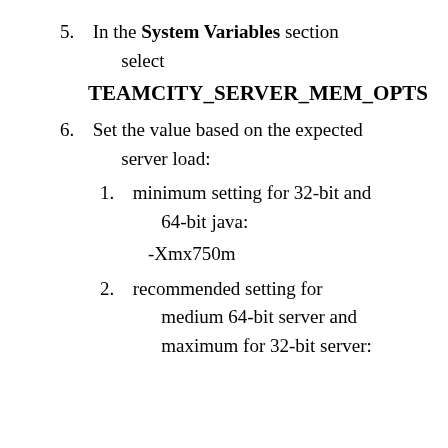5. In the System Variables section select
TEAMCITY_SERVER_MEM_OPTS
6. Set the value based on the expected server load:
1. minimum setting for 32-bit and 64-bit java:
-Xmx750m
2. recommended setting for medium 64-bit server and maximum for 32-bit server: